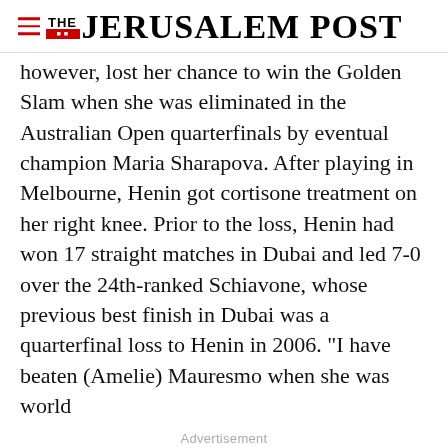THE JERUSALEM POST
however, lost her chance to win the Golden Slam when she was eliminated in the Australian Open quarterfinals by eventual champion Maria Sharapova. After playing in Melbourne, Henin got cortisone treatment on her right knee. Prior to the loss, Henin had won 17 straight matches in Dubai and led 7-0 over the 24th-ranked Schiavone, whose previous best finish in Dubai was a quarterfinal loss to Henin in 2006. "I have beaten (Amelie) Mauresmo when she was world
Advertisement